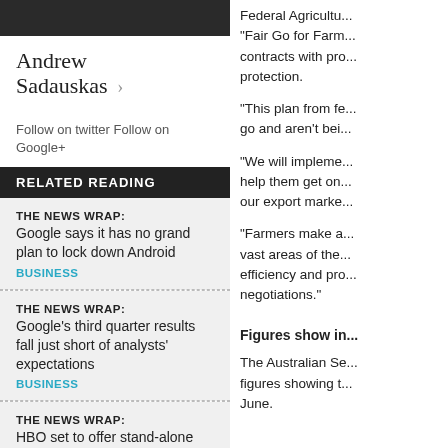[Figure (photo): Dark photograph strip at top of left column]
Andrew Sadauskas ›
Follow on twitter Follow on Google+
RELATED READING
THE NEWS WRAP: Google says it has no grand plan to lock down Android
BUSINESS
THE NEWS WRAP: Google's third quarter results fall just short of analysts' expectations
BUSINESS
THE NEWS WRAP: HBO set to offer stand-alone streaming service
BUSINESS
Federal Agricultu... "Fair Go for Farm... contracts with pro... protection.
"This plan from fe... go and aren't bei...
"We will impleme... help them get on... our export marke...
"Farmers make a... vast areas of the... efficiency and pro... negotiations."
Figures show in...
The Australian Se... figures showing t... June.